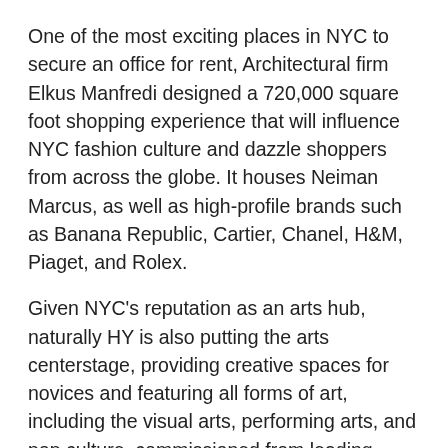One of the most exciting places in NYC to secure an office for rent, Architectural firm Elkus Manfredi designed a 720,000 square foot shopping experience that will influence NYC fashion culture and dazzle shoppers from across the globe. It houses Neiman Marcus, as well as high-profile brands such as Banana Republic, Cartier, Chanel, H&M, Piaget, and Rolex.
Given NYC's reputation as an arts hub, naturally HY is also putting the arts centerstage, providing creative spaces for novices and featuring all forms of art, including the visual arts, performing arts, and pop culture, commissioned from leading artists from around the world.
Looking for an office rental in an unforgettable area?
It may sound gimmicky, but it doesn't hurt to have your business's offices in a place that your customers won't be